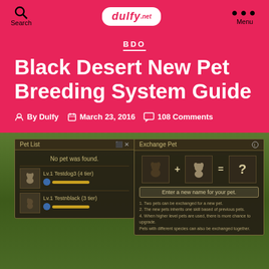Search | dulfy.net | Menu
BDO
Black Desert New Pet Breeding System Guide
By Dulfy  March 23, 2016  108 Comments
[Figure (screenshot): Game UI screenshot showing Pet List panel with 'No pet was found.' message and two pets listed (Testdog3 4 tier, Testnblack 3 tier), and Exchange Pet panel showing two pet icons with + = ? and a name input field with exchange notes.]